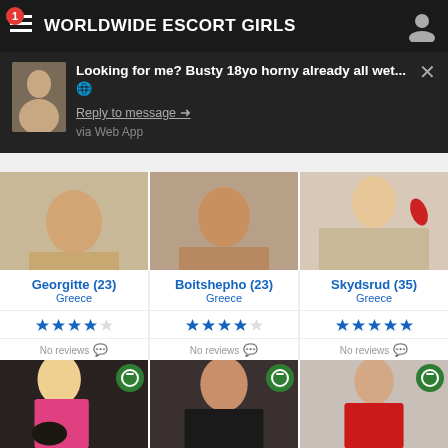WORLDWIDE ESCORT GIRLS
Looking for me? Busty 18yo horny already all wet... Reply to message → via Web App
Georgitte (23)
Greece
No reviews
Boitshepho (23)
Greece
No reviews
Skydsrud (35)
Greece
No reviews
[Figure (photo): Three escort profile photos in bottom row]
[Figure (photo): Three escort profile photos in top row (partially visible)]